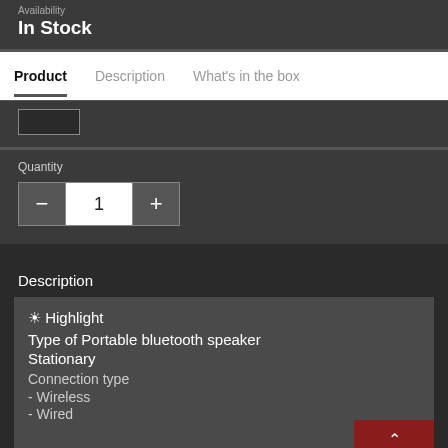Availability
In Stock
Product | Description | What's in the box
Quantity
- 1 +
Description
☀ Highlight
Type of Portable bluetooth speaker
Stationary
Connection type
- Wireless
- Wired